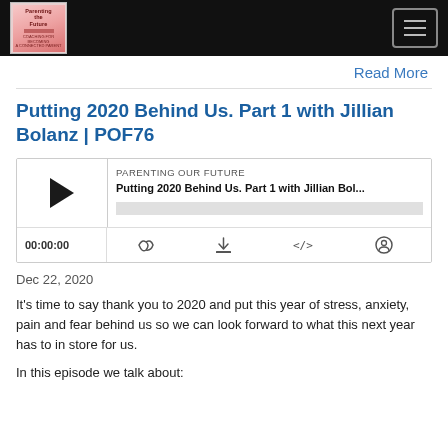Parenting Our Future — navigation bar with logo and hamburger menu
Read More
Putting 2020 Behind Us. Part 1 with Jillian Bolanz | POF76
[Figure (other): Podcast audio player widget showing 'PARENTING OUR FUTURE' label, episode title 'Putting 2020 Behind Us. Part 1 with Jillian Bol...', play button, progress bar, timestamp 00:00:00, and control icons for RSS, download, embed, and share]
Dec 22, 2020
It's time to say thank you to 2020 and put this year of stress, anxiety, pain and fear behind us so we can look forward to what this next year has to in store for us.
In this episode we talk about: